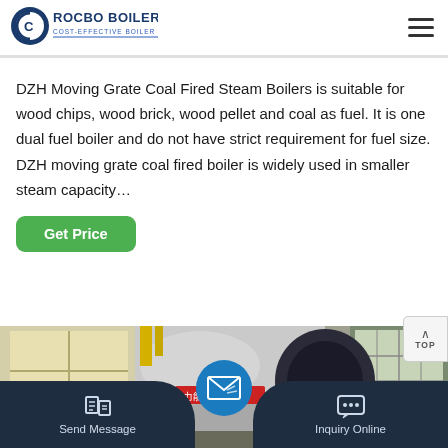[Figure (logo): Rocbo Boiler logo with blue text and circular emblem, tagline: COST-EFFECTIVE BOILER SUPPLIER]
DZH Moving Grate Coal Fired Steam Boilers is suitable for wood chips, wood brick, wood pellet and coal as fuel. It is one dual fuel boiler and do not have strict requirement for fuel size. DZH moving grate coal fired boiler is widely used in smaller steam capacity…
Get Price
[Figure (photo): Industrial boiler in a factory setting, large cylindrical silver boiler with Chinese text label, yellow pipes visible in background, large windows on right side]
Send Message
Inquiry Online